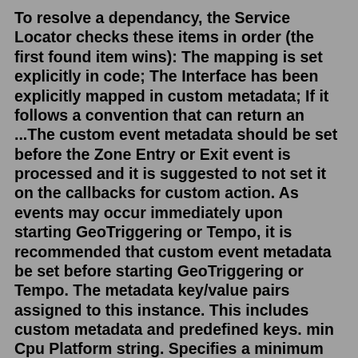To resolve a dependancy, the Service Locator checks these items in order (the first found item wins): The mapping is set explicitly in code; The Interface has been explicitly mapped in custom metadata; If it follows a convention that can return an ...The custom event metadata should be set before the Zone Entry or Exit event is processed and it is suggested to not set it on the callbacks for custom action. As events may occur immediately upon starting GeoTriggering or Tempo, it is recommended that custom event metadata be set before starting GeoTriggering or Tempo. The metadata key/value pairs assigned to this instance. This includes custom metadata and predefined keys. min Cpu Platform string. Specifies a minimum CPU platform for the VM instance. Applicable values are the friendly names of CPU platforms, such as minCpuPlatform: "Intel Haswell" or minCpuPlatform: "Intel Sandy Bridge". name stringUse the Apex getAll (), getInstance (recordId), getInstance (qualifiedApiName), and getInstance (developerName) methods to retrieve information...